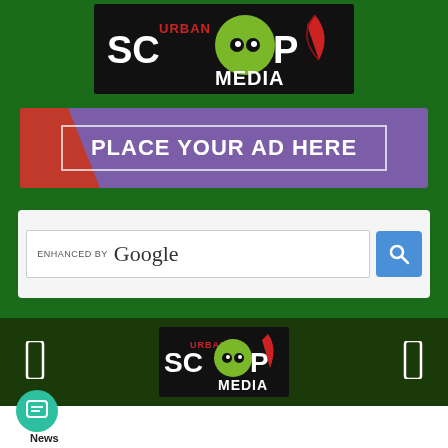[Figure (logo): Urban Scoop Media logo — black background with white SCOOP text, green infinity-eye owl symbol, red feather, red URBAN text, white MEDIA text]
[Figure (infographic): Purple banner ad with red diagonal stripe on left, white bordered text reading PLACE YOUR AD HERE]
[Figure (screenshot): Google search bar with 'ENHANCED BY Google' text and blue search button with magnifying glass icon]
[Figure (logo): Urban Scoop Media logo smaller version in bottom navigation bar]
[Figure (other): Teal circular chat/message button at bottom left, with News label below]